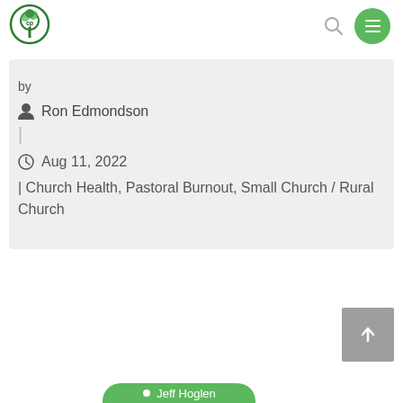[Figure (logo): Green circular logo with tree/plant icon and letters CP]
by
Ron Edmondson
Aug 11, 2022
| Church Health, Pastoral Burnout, Small Church / Rural Church